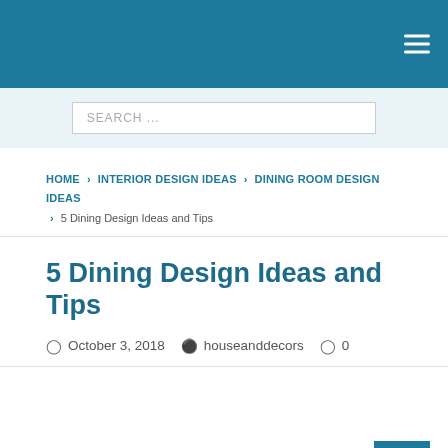SEARCH ...
HOME > INTERIOR DESIGN IDEAS > DINING ROOM DESIGN IDEAS > 5 Dining Design Ideas and Tips
5 Dining Design Ideas and Tips
October 3, 2018   houseanddecors   0